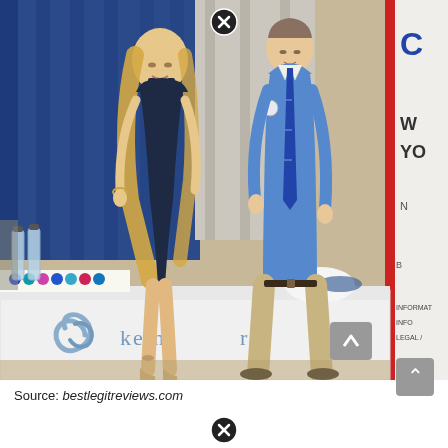[Figure (photo): Two people standing at a trade show booth with a white tablecloth table behind them. On the left, a woman in a navy blue dress with long blonde hair. On the right, a man in a light blue shirt and striped tie wearing khaki pants. The table has a logo and text reading 'ketne...r' (partially visible) and a swirl logo. Colorful items are on the table. Water bottles are visible on the left. There is a blue curtain backdrop and a red-edged banner on the right partially visible. A grey scroll-to-top button is visible in the bottom right of the photo. An 'X' close button appears at the top center of the image.]
Source: bestlegitreviews.com